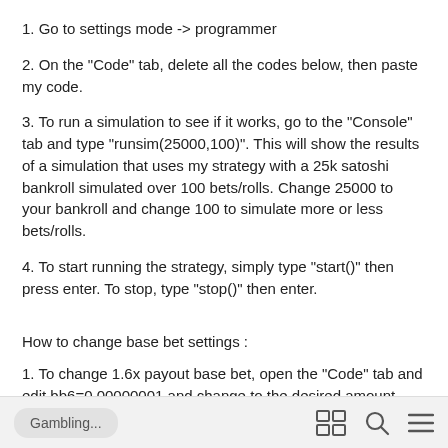1. Go to settings mode -> programmer
2. On the "Code" tab, delete all the codes below, then paste my code.
3. To run a simulation to see if it works, go to the "Console" tab and type "runsim(25000,100)". This will show the results of a simulation that uses my strategy with a 25k satoshi bankroll simulated over 100 bets/rolls. Change 25000 to your bankroll and change 100 to simulate more or less bets/rolls.
4. To start running the strategy, simply type "start()" then press enter. To stop, type "stop()" then enter.
How to change base bet settings :
1. To change 1.6x payout base bet, open the "Code" tab and edit bb6=0.00000001 and change to the desired amount.
Gambling...